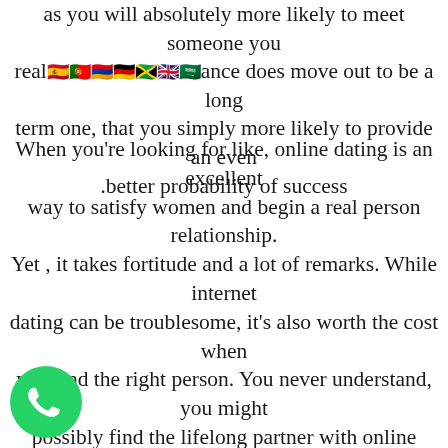as you will absolutely more likely to meet someone you really [flags] ance does move out to be a long term one, that you simply more likely to provide an even better probability of success.
When you're looking for like, online dating is an excellent way to satisfy women and begin a real person relationship. Yet , it takes fortitude and a lot of remarks. While internet dating can be troublesome, it's also worth the cost when you find the right person. You never understand, you might possibly find the lifelong partner with online dating services. If you're looking for love, perhaps you should take a risk? You never know, online dating sites can be disastrous or outstanding – you never know what will happen. You can never know until you try, although you'll never understand if it's of great benefit or not.
[Figure (logo): WhatsApp green circular logo with white phone handset icon]